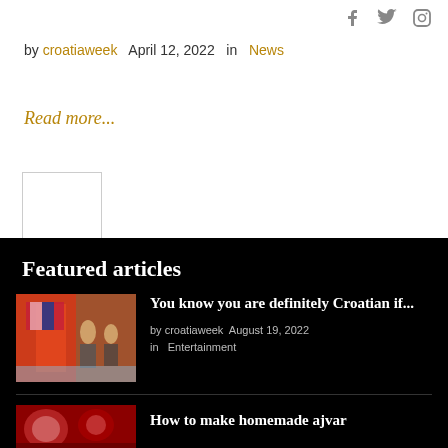social icons: Facebook, Twitter, Instagram
by croatiaweek   April 12, 2022   in   News
Read more...
[Figure (photo): Small thumbnail placeholder image]
Featured articles
[Figure (photo): People holding a Croatian flag on a beach]
You know you are definitely Croatian if...
by croatiaweek   August 19, 2022   in   Entertainment
[Figure (photo): Close-up of red food item (ajvar)]
How to make homemade ajvar